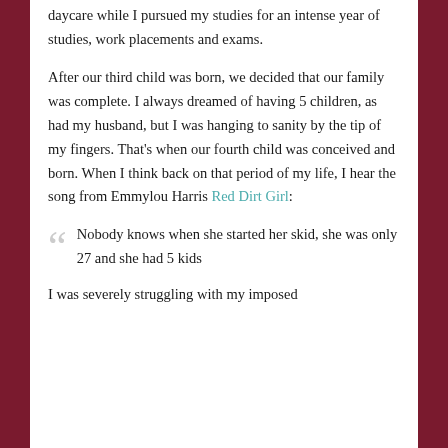daycare while I pursued my studies for an intense year of studies, work placements and exams.
After our third child was born, we decided that our family was complete. I always dreamed of having 5 children, as had my husband, but I was hanging to sanity by the tip of my fingers. That's when our fourth child was conceived and born. When I think back on that period of my life, I hear the song from Emmylou Harris Red Dirt Girl:
Nobody knows when she started her skid, she was only 27 and she had 5 kids
I was severely struggling with my imposed